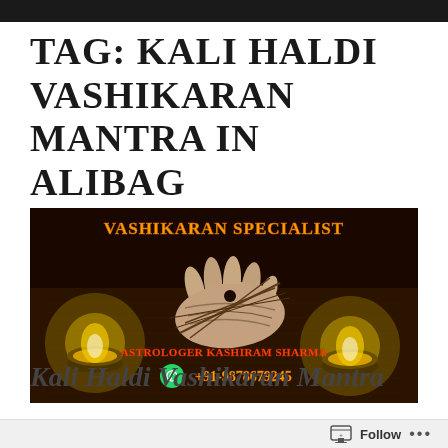TAG: KALI HALDI VASHIKARAN MANTRA IN ALIBAG
[Figure (photo): Vashikaran Specialist promotional image with voodoo doll/hand on dark book, two candles, with text 'VASHIKARAN SPECIALIST', 'ASTROLOGER KASHIRAM SHARMA', and WhatsApp number +91-9878679245]
Kali Haldi Vashikaran Mantra
Follow ...